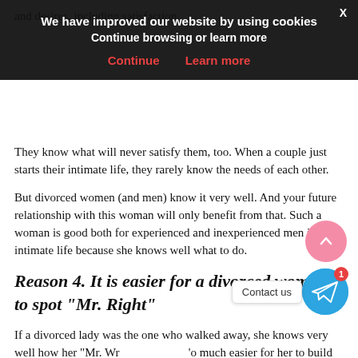and desires, including satisfaction.
[Figure (screenshot): Cookie consent banner overlay with dark background. Title: 'We have improved our website by using cookies'. Subtitle: 'Continue browsing or learn more'. Two red buttons: 'Continue' and 'Learn more'. Close X button top right.]
But such a successful woman knows what she wants and what (approximately) who she may like. They are also very sure about their desires and needs.
They know what will never satisfy them, too. When a couple just starts their intimate life, they rarely know the needs of each other.
But divorced women (and men) know it very well. And your future relationship with this woman will only benefit from that. Such a woman is good both for experienced and inexperienced men in their intimate life because she knows well what to do.
Reason 4. It is easier for a divorced woman to spot “Mr. Right”
If a divorced lady was the one who walked away, she knows very well how her “Mr. Wrong” looked, so it is much easier for her to build relationships now. She knows how to spot the man she wants and needs and will not procrastinate now if she thinks you are right for her.